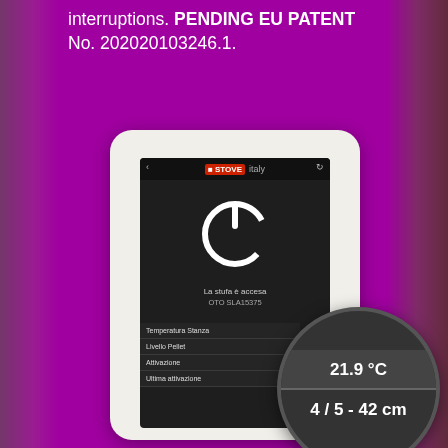interruptions. PENDING EU PATENT No. 202020103246.1.
[Figure (screenshot): A tablet device showing the STOVEItaly app interface with a power button, device status 'La stufa è accesa', device ID 'OTO SLA15375', and a circular overlay showing temperature 21.9 °C and pellet level 4/5 -42 cm. The app shows a list with Temperatura Stanza, Livello Pellet, Attivazione, Ultima attivazione entries.]